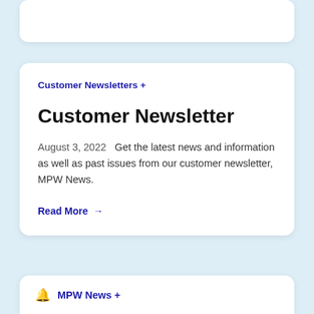Customer Newsletters +
Customer Newsletter
August 3, 2022   Get the latest news and information as well as past issues from our customer newsletter, MPW News.
Read More →
🔔 MPW News +